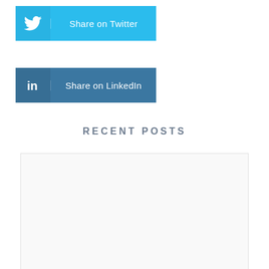[Figure (other): Share on Twitter button with Twitter bird icon on the left and text 'Share on Twitter' on the right, light blue background]
[Figure (other): Share on LinkedIn button with LinkedIn 'in' icon on the left and text 'Share on LinkedIn' on the right, steel blue background]
RECENT POSTS
[Figure (other): White/light gray rectangular image placeholder for a recent post]